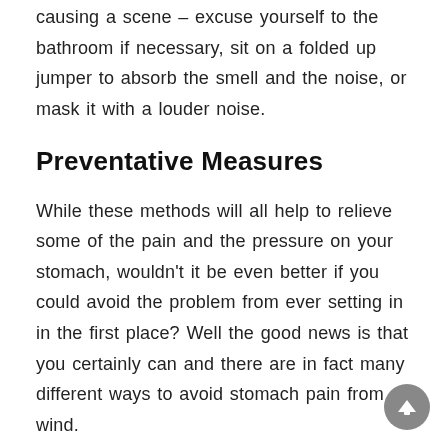causing a scene – excuse yourself to the bathroom if necessary, sit on a folded up jumper to absorb the smell and the noise, or mask it with a louder noise.
Preventative Measures
While these methods will all help to relieve some of the pain and the pressure on your stomach, wouldn't it be even better if you could avoid the problem from ever setting in in the first place? Well the good news is that you certainly can and there are in fact many different ways to avoid stomach pain from wind.